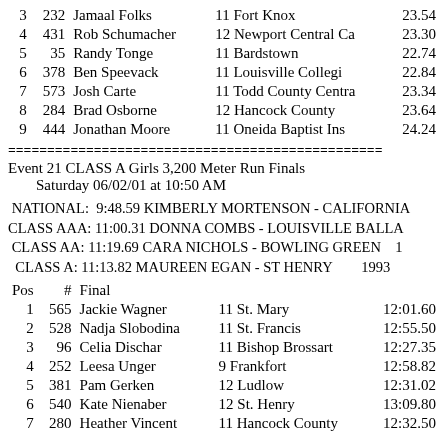| Pos | # | Name | Yr School | Final |
| --- | --- | --- | --- | --- |
| 3 | 232 | Jamaal Folks | 11 Fort Knox | 23.54 |
| 4 | 431 | Rob Schumacher | 12 Newport Central Ca | 23.30 |
| 5 | 35 | Randy Tonge | 11 Bardstown | 22.74 |
| 6 | 378 | Ben Speevack | 11 Louisville Collegi | 22.84 |
| 7 | 573 | Josh Carte | 11 Todd County Centra | 23.34 |
| 8 | 284 | Brad Osborne | 12 Hancock County | 23.64 |
| 9 | 444 | Jonathan Moore | 11 Oneida Baptist Ins | 24.24 |
Event 21 CLASS A Girls 3,200 Meter Run Finals
Saturday 06/02/01 at 10:50 AM
NATIONAL:  9:48.59 KIMBERLY MORTENSON - CALIFORNIA
CLASS AAA: 11:00.31 DONNA COMBS - LOUISVILLE BALLA
CLASS AA: 11:19.69 CARA NICHOLS - BOWLING GREEN    1
CLASS A: 11:13.82 MAUREEN EGAN - ST HENRY       1993
| Pos | # | Final |
| --- | --- | --- |
| 1 | 565 | Jackie Wagner | 11 St. Mary | 12:01.60 |
| 2 | 528 | Nadja Slobodina | 11 St. Francis | 12:55.50 |
| 3 | 96 | Celia Dischar | 11 Bishop Brossart | 12:27.35 |
| 4 | 252 | Leesa Unger | 9 Frankfort | 12:58.82 |
| 5 | 381 | Pam Gerken | 12 Ludlow | 12:31.02 |
| 6 | 540 | Kate Nienaber | 12 St. Henry | 13:09.80 |
| 7 | 280 | Heather Vincent | 11 Hancock County | 12:32.50 |